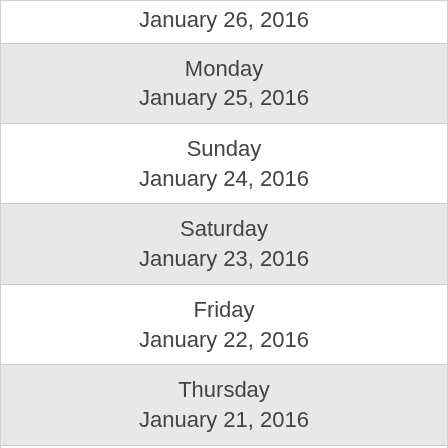| January 26, 2016 |
| Monday
January 25, 2016 |
| Sunday
January 24, 2016 |
| Saturday
January 23, 2016 |
| Friday
January 22, 2016 |
| Thursday
January 21, 2016 |
| Wednesday
January 20, 2016 |
| Tuesday
January 19, 2016 |
| Monday
January 18, 2016 |
| Sunday
January 17, 2016 |
| Saturday |